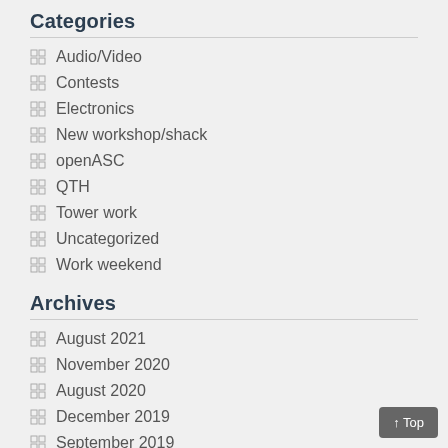Categories
Audio/Video
Contests
Electronics
New workshop/shack
openASC
QTH
Tower work
Uncategorized
Work weekend
Archives
August 2021
November 2020
August 2020
December 2019
September 2019
July 2019
April 2019
March 2019